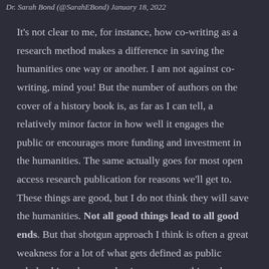Dr. Sarah Bond (@SarahEBond) January 18, 2022
It's not clear to me, for instance, how co-writing as a research method makes a difference in saving the humanities one way or another. I am not against co-writing, mind you! But the number of authors on the cover of a history book is, as far as I can tell, a relatively minor factor in how well it engages the public or encourages more funding and investment in the humanities. The same actually goes for most open access research publication for reasons we'll get to. These things are good, but I do not think they will save the humanities. Not all good things lead to all good ends. But that shotgun approach I think is often a great weakness for a lot of what gets defined as public scholarship, where academics repurpose things they